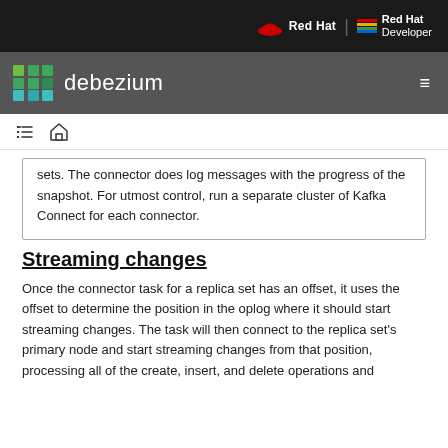Red Hat | Red Hat Developer
debezium
sets. The connector does log messages with the progress of the snapshot. For utmost control, run a separate cluster of Kafka Connect for each connector.
Streaming changes
Once the connector task for a replica set has an offset, it uses the offset to determine the position in the oplog where it should start streaming changes. The task will then connect to the replica set's primary node and start streaming changes from that position, processing all of the create, insert, and delete operations and